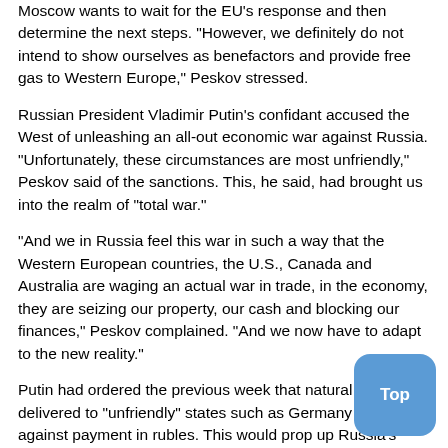Moscow wants to wait for the EU's response and then determine the next steps. "However, we definitely do not intend to show ourselves as benefactors and provide free gas to Western Europe," Peskov stressed.
Russian President Vladimir Putin's confidant accused the West of unleashing an all-out economic war against Russia. "Unfortunately, these circumstances are most unfriendly," Peskov said of the sanctions. This, he said, had brought us into the realm of "total war."
"And we in Russia feel this war in such a way that the Western European countries, the U.S., Canada and Australia are waging an actual war in trade, in the economy, they are seizing our property, our cash and blocking our finances," Peskov complained. "And we now have to adapt to the new reality."
Putin had ordered the previous week that natural gas be delivered to "unfriendly" states such as Germany only against payment in rubles. This would prop up Russia's currency, which has come under pressure, because importing countries would have to obtain rubles. Germany is among the countries a... Until now, gas deliveries from Germany, for example, hav... paid for in euros.